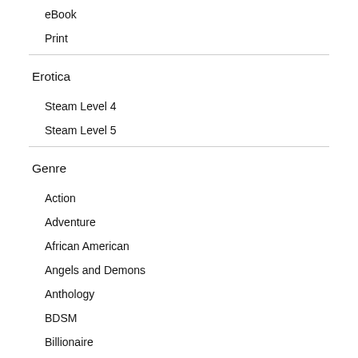eBook
Print
Erotica
Steam Level 4
Steam Level 5
Genre
Action
Adventure
African American
Angels and Demons
Anthology
BDSM
Billionaire
Bisexual/Transgender
Bundle